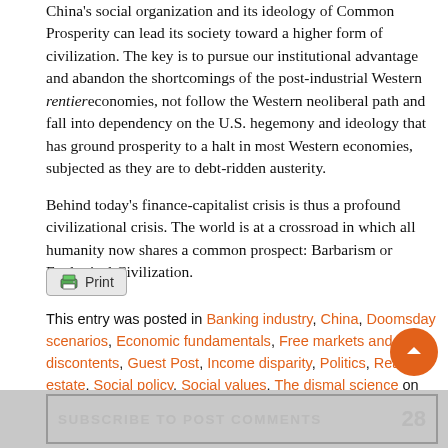China's social organization and its ideology of Common Prosperity can lead its society toward a higher form of civilization. The key is to pursue our institutional advantage and abandon the shortcomings of the post-industrial Western rentier economies, not follow the Western neoliberal path and fall into dependency on the U.S. hegemony and ideology that has ground prosperity to a halt in most Western economies, subjected as they are to debt-ridden austerity.
Behind today's finance-capitalist crisis is thus a profound civilizational crisis. The world is at a crossroad in which all humanity now shares a common prospect: Barbarism or Ecological Civilization.
This entry was posted in Banking industry, China, Doomsday scenarios, Economic fundamentals, Free markets and their discontents, Guest Post, Income disparity, Politics, Real estate, Social policy, Social values, The dismal science on May 18, 2022 by Yves Smith.